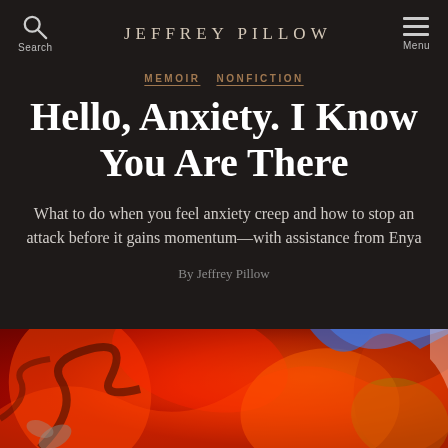JEFFREY PILLOW
MEMOIR  NONFICTION
Hello, Anxiety. I Know You Are There
What to do when you feel anxiety creep and how to stop an attack before it gains momentum—with assistance from Enya
By Jeffrey Pillow
[Figure (photo): Abstract painting with vivid reds, oranges, and swirling colorful brushstrokes, partially visible at the bottom of the page]